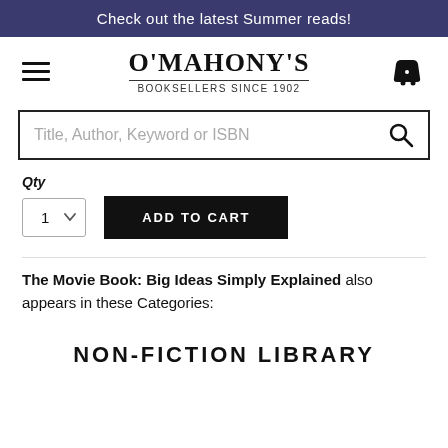Check out the latest Summer reads!
[Figure (logo): O'Mahony's Booksellers Since 1902 logo with hamburger menu and basket icon]
Title, Author, Keyword or ISBN
Qty
ADD TO CART
The Movie Book: Big Ideas Simply Explained also appears in these Categories:
NON-FICTION LIBRARY